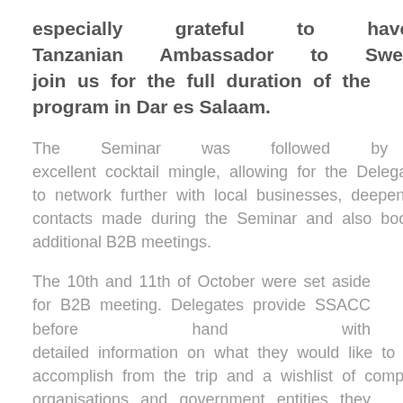especially grateful to have the Tanzanian Ambassador to Sweden, Dr. Slaa, join us for the full duration of the program in Dar es Salaam.
The Seminar was followed by an excellent cocktail mingle, allowing for the Delegates to network further with local businesses, deepen contacts made during the Seminar and also book additional B2B meetings.
The 10th and 11th of October were set aside for B2B meeting. Delegates provide SSACC before hand with detailed information on what they would like to accomplish from the trip and a wishlist of companies, organisations and government entities they would like to